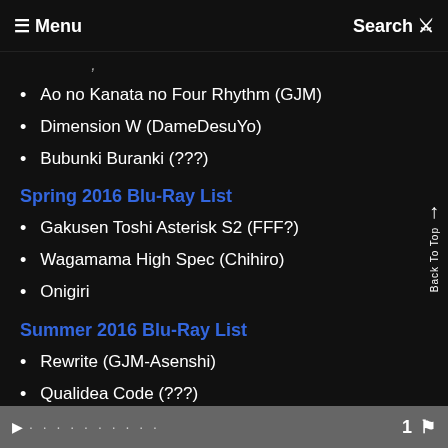≡ Menu  Search Q
…
Ao no Kanata no Four Rhythm (GJM)
Dimension W (DameDesuYo)
Bubunki Buranki (???)
Spring 2016 Blu-Ray List
Gakusen Toshi Asterisk S2 (FFF?)
Wagamama High Spec (Chihiro)
Onigiri
Summer 2016 Blu-Ray List
Rewrite (GJM-Asenshi)
Qualidea Code (???)
Masou Gakuen HxH (GJM)
◀  · · · · · ·  · · ·    1 🏳